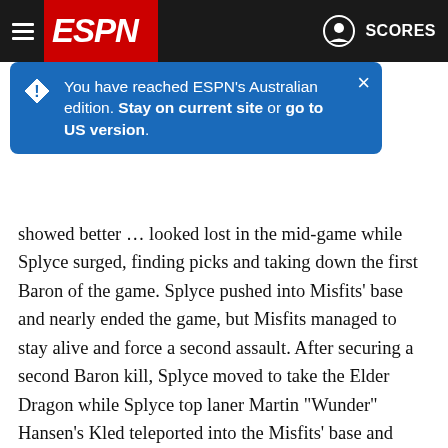ESPN navigation bar with hamburger menu, ESPN logo, and SCORES link
[Figure (screenshot): Blue popup notification: You have reached ESPN's Australian edition. Stay on current site or go to US version. With a close (×) button.]
showed better ... looked lost in the mid-game while Splyce surged, finding picks and taking down the first Baron of the game. Splyce pushed into Misfits' base and nearly ended the game, but Misfits managed to stay alive and force a second assault. After securing a second Baron kill, Splyce moved to take the Elder Dragon while Splyce top laner Martin "Wunder" Hansen's Kled teleported into the Misfits' base and snuck in the finishing blows on the Nexus to put his team up 2-0 in the series.
In a match point Game 3, Splyce started strong, but the momentum shifted after a well-played teamfight in the bot lane that went 3-for-2 for Misfits. This wouldn't have been about an even trade on any other character, but Misfits AD carry Steven "Hans sama" Liv earned two kills on Kalista in the skirmish